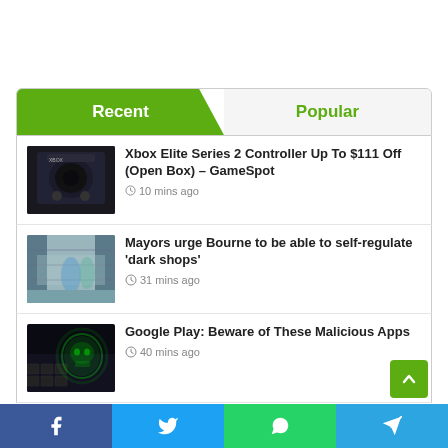Recent
Popular
Xbox Elite Series 2 Controller Up To $111 Off (Open Box) – GameSpot
10 mins ago
Mayors urge Bourne to be able to self-regulate 'dark shops'
31 mins ago
Google Play: Beware of These Malicious Apps
40 mins ago